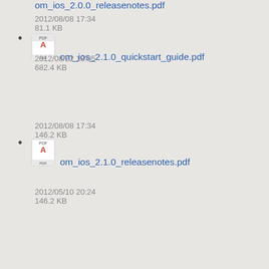om_ios_2.0.0_releasenotes.pdf
2012/08/08 17:34
81.1 KB
om_ios_2.1.0_quickstart_guide.pdf
2012/08/22 18:05
682.4 KB
om_ios_2.1.0_releasenotes.pdf
2012/08/08 17:34
146.2 KB
om_ios_2.1_releasenotes.pdf
2012/05/10 20:24
146.2 KB